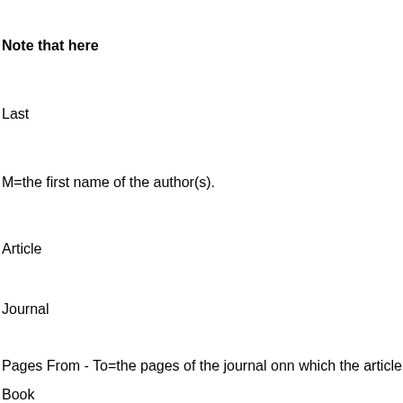Note that here
Last
M=the first name of the author(s).
Article
Journal
Pages From - To=the pages of the journal onn which the article is printe
Book